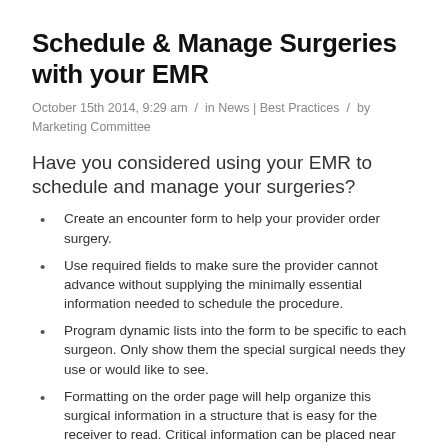Schedule & Manage Surgeries with your EMR
October 15th 2014, 9:29 am  /  in News | Best Practices  /  by Marketing Committee
Have you considered using your EMR to schedule and manage your surgeries?
Create an encounter form to help your provider order surgery.
Use required fields to make sure the provider cannot advance without supplying the minimally essential information needed to schedule the procedure.
Program dynamic lists into the form to be specific to each surgeon. Only show them the special surgical needs they use or would like to see.
Formatting on the order page will help organize this surgical information in a structure that is easy for the receiver to read. Critical information can be placed near the top of the order followed by supporting documentation, or a particular detail